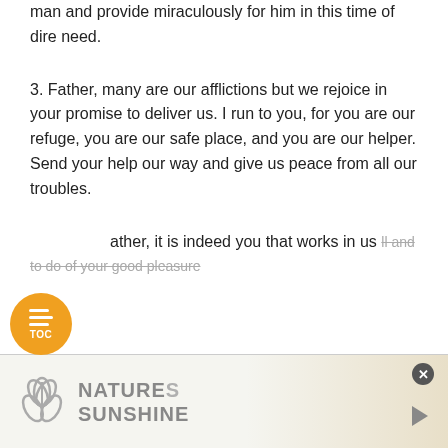man and provide miraculously for him in this time of dire need.
3. Father, many are our afflictions but we rejoice in your promise to deliver us. I run to you, for you are our refuge, you are our safe place, and you are our helper. Send your help our way and give us peace from all our troubles.
ather, it is indeed you that works in us ll and to do of your good pleasure
[Figure (other): Orange circular TOC (Table of Contents) button with three horizontal lines icon and 'TOC' label]
[Figure (other): Nature's Sunshine advertisement banner with leaf logo, gray text on cream/tan gradient background, with close (x) button and play arrow icon]